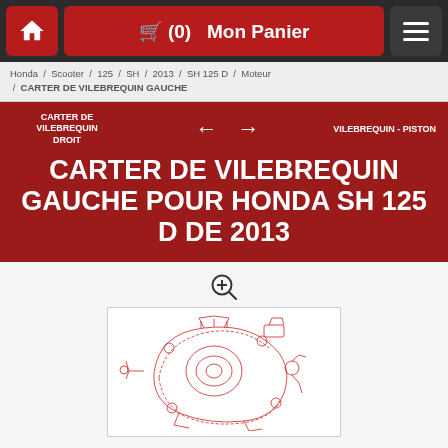🛒 (0)  Mon Panier
Honda / Scooter / 125 / SH / 2013 / SH 125 D / Moteur / CARTER DE VILEBREQUIN GAUCHE
CARTER DE VILEBREQUIN GAUCHE POUR HONDA SH 125 D DE 2013
[Figure (engineering-diagram): Technical exploded parts diagram of Honda SH 125 D crankcase left section, shown in red line art on white background]
| Référence | Désignation |
| --- | --- |
|  | BAGUE DE |
CARTER DE VILEBREQUIN DROIT
VILEBREQUIN - PISTON